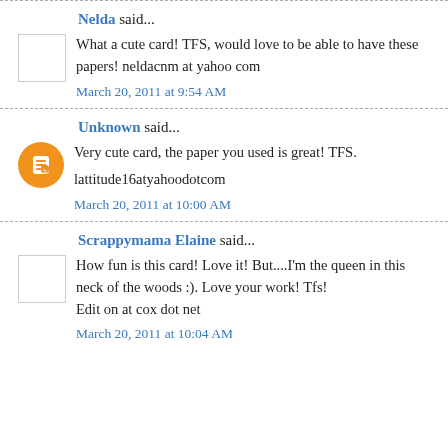Nelda said... What a cute card! TFS, would love to be able to have these papers! neldacnm at yahoo com
March 20, 2011 at 9:54 AM
Unknown said... Very cute card, the paper you used is great! TFS. lattitude16atyahoodotcom
March 20, 2011 at 10:00 AM
Scrappymama Elaine said... How fun is this card! Love it! But....I'm the queen in this neck of the woods :). Love your work! Tfs! Edit on at cox dot net
March 20, 2011 at 10:04 AM